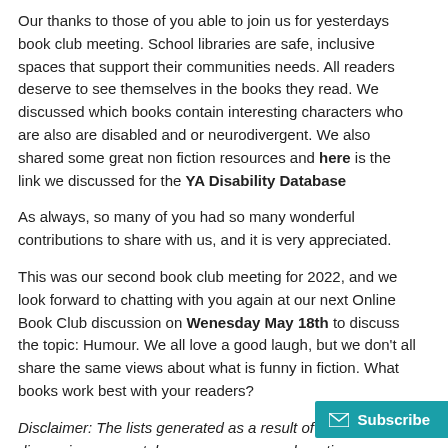Our thanks to those of you able to join us for yesterdays book club meeting. School libraries are safe, inclusive spaces that support their communities needs. All readers deserve to see themselves in the books they read. We discussed which books contain interesting characters who are also are disabled and or neurodivergent. We also shared some great non fiction resources and here is the link we discussed for the YA Disability Database
As always, so many of you had so many wonderful contributions to share with us, and it is very appreciated.
This was our second book club meeting for 2022, and we look forward to chatting with you again at our next Online Book Club discussion on Wenesday May 18th to discuss the topic: Humour. We all love a good laugh, but we don't all share the same views about what is funny in fiction. What books work best with your readers?
Disclaimer: The lists generated as a result of Book discussions are not, by any means, an exhaustive